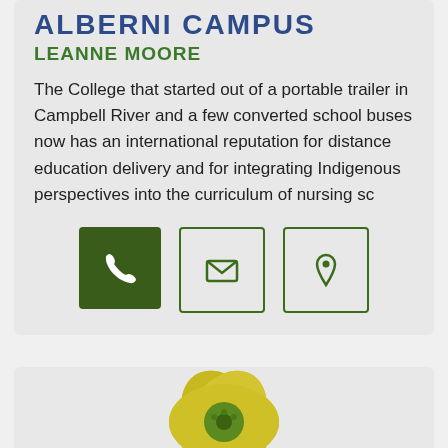ALBERNI CAMPUS
LEANNE MOORE
The College that started out of a portable trailer in Campbell River and a few converted school buses now has an international reputation for distance education delivery and for integrating Indigenous perspectives into the curriculum of nursing sc
[Figure (infographic): Three contact icon buttons: a filled dark green phone icon button, an outlined envelope/email icon button, and an outlined map pin/location icon button]
[Figure (illustration): Partial view of a yellow-green flower illustration at the bottom of the page]